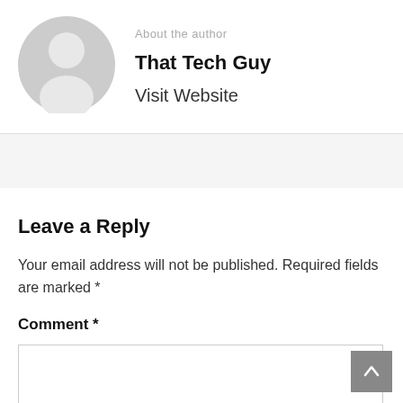[Figure (illustration): Gray circular avatar placeholder with a generic person silhouette icon]
About the author
That Tech Guy
Visit Website
Leave a Reply
Your email address will not be published. Required fields are marked *
Comment *